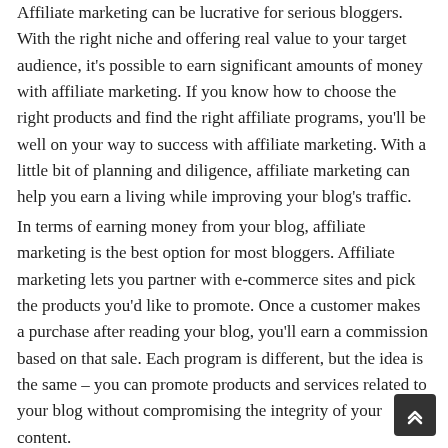Affiliate marketing can be lucrative for serious bloggers. With the right niche and offering real value to your target audience, it's possible to earn significant amounts of money with affiliate marketing. If you know how to choose the right products and find the right affiliate programs, you'll be well on your way to success with affiliate marketing. With a little bit of planning and diligence, affiliate marketing can help you earn a living while improving your blog's traffic.
In terms of earning money from your blog, affiliate marketing is the best option for most bloggers. Affiliate marketing lets you partner with e-commerce sites and pick the products you'd like to promote. Once a customer makes a purchase after reading your blog, you'll earn a commission based on that sale. Each program is different, but the idea is the same – you can promote products and services related to your blog without compromising the integrity of your content.